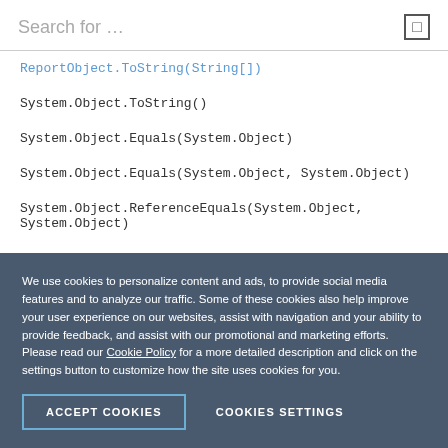Search for …
ReportObject.ToString(String[])
System.Object.ToString()
System.Object.Equals(System.Object)
System.Object.Equals(System.Object, System.Object)
System.Object.ReferenceEquals(System.Object, System.Object)
System.Object.GetHashCode()
System.Object.GetType()
System.Object.MemberwiseClone()
We use cookies to personalize content and ads, to provide social media features and to analyze our traffic. Some of these cookies also help improve your user experience on our websites, assist with navigation and your ability to provide feedback, and assist with our promotional and marketing efforts. Please read our Cookie Policy for a more detailed description and click on the settings button to customize how the site uses cookies for you.
ACCEPT COOKIES
COOKIES SETTINGS